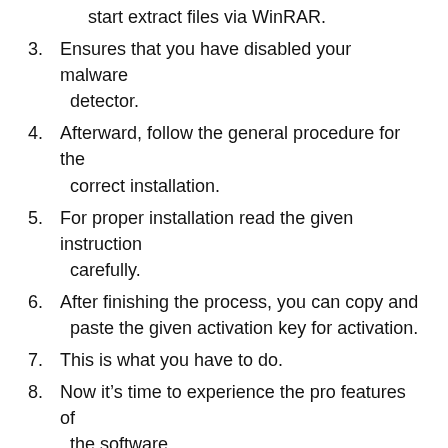start extract files via WinRAR.
3. Ensures that you have disabled your malware detector.
4. Afterward, follow the general procedure for the correct installation.
5. For proper installation read the given instruction carefully.
6. After finishing the process, you can copy and paste the given activation key for activation.
7. This is what you have to do.
8. Now it’s time to experience the pro features of the software.
Download Driver Talent 8 Crack 2022 Full Version Here